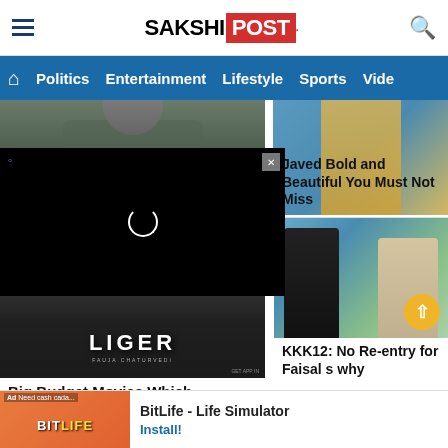SAKSHI POST
Politics | Entertainment | Lifestyle | Sports | Vide
[Figure (photo): Left: partial face/torso of a person in dark clothing. Right: person in yellow outfit.]
[Figure (screenshot): Video player overlay (black) with loading spinner and Twitter icon and X close button]
Javed Bold and Beautiful You Must Not Miss
[Figure (photo): Liger movie poster showing muscular figure and LIGER title text]
Big Budget Movies Which
[Figure (photo): Two men outdoors, one in black t-shirt with tattoos, one in floral shirt]
KKK12: No Re-entry for Faisal s why
[Figure (infographic): Ad banner: BitLife - Life Simulator game advertisement with Install button]